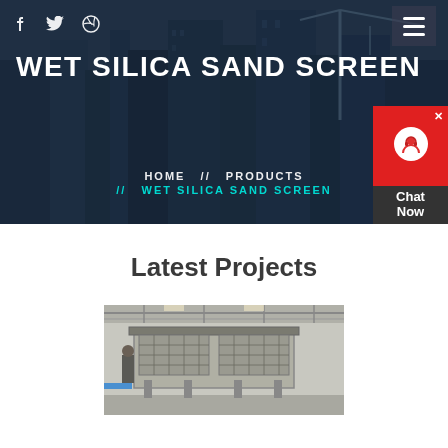WET SILICA SAND SCREEN
HOME // PRODUCTS // WET SILICA SAND SCREEN
Latest Projects
[Figure (photo): Industrial screening equipment in a warehouse/facility setting, viewed from the front-left angle]